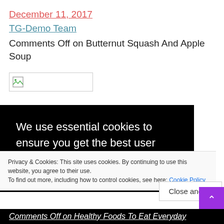December 11, 2017
TG-Demo Team
Comments Off on Butternut Squash And Apple Soup
[Figure (photo): Broken image placeholder]
We use essential cookies to ensure you get the best user experience on our website. By
Privacy & Cookies: This site uses cookies. By continuing to use this website, you agree to their use. To find out more, including how to control cookies, see here: Cookie Policy
Close and ac
Comments Off on Healthy Foods To Eat Everyday